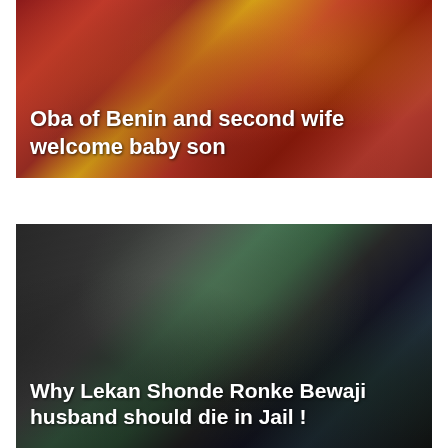[Figure (photo): Photo of Oba of Benin in red traditional attire with second wife also in red and gold traditional wear, seated together]
Oba of Benin and second wife welcome baby son
[Figure (photo): Photo of Lekan Shonde walking in a parking lot accompanied by men, one in a suit with red tie, others in uniform, outdoors]
Why Lekan Shonde Ronke Bewaji husband should die in Jail !